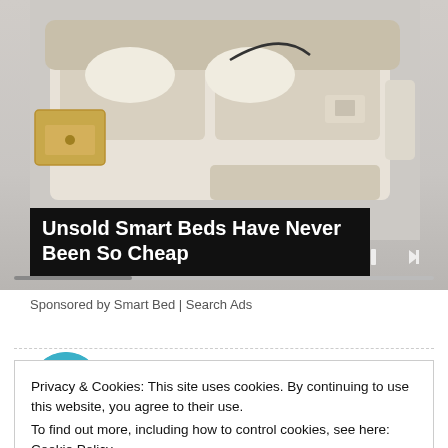[Figure (photo): Advertisement image of a smart bed with storage drawers open, leather upholstery, showing various features. Media player controls (skip-back, pause, skip-forward) visible at lower right, with a progress bar along the bottom.]
Unsold Smart Beds Have Never Been So Cheap
Sponsored by Smart Bed | Search Ads
Published by Laurie
Privacy & Cookies: This site uses cookies. By continuing to use this website, you agree to their use.
To find out more, including how to control cookies, see here: Cookie Policy
Close and accept
View all posts by Laurie